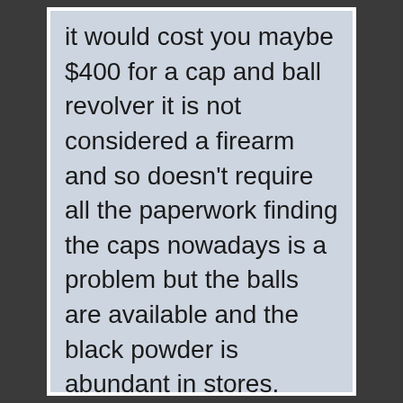it would cost you maybe $400 for a cap and ball revolver it is not considered a firearm and so doesn't require all the paperwork finding the caps nowadays is a problem but the balls are available and the black powder is abundant in stores. WARNING! do not use smokeless powder in a cap and ball musket or pistol it burns way to fast and could result in a major malfunction causing massive damage